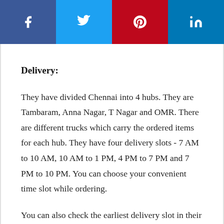[Figure (infographic): Social media sharing bar with four buttons: Facebook (dark blue), Twitter (light blue), Pinterest (red), LinkedIn (dark blue)]
Delivery:
They have divided Chennai into 4 hubs. They are Tambaram, Anna Nagar, T Nagar and OMR. There are different trucks which carry the ordered items for each hub. They have four delivery slots - 7 AM to 10 AM, 10 AM to 1 PM, 4 PM to 7 PM and 7 PM to 10 PM. You can choose your convenient time slot while ordering.
You can also check the earliest delivery slot in their website for your pin code. If they cannot deliver the items within their